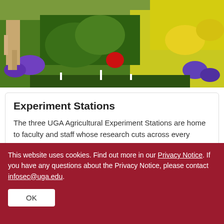[Figure (photo): Overhead view of a garden center or greenhouse with colorful flowering plants including purple, yellow, and red flowers, with a person walking nearby]
Experiment Stations
The three UGA Agricultural Experiment Stations are home to faculty and staff whose research cuts across every scientific discipline. Learn more about our stations.
This website uses cookies. Find out more in our Privacy Notice. If you have any questions about the Privacy Notice, please contact infosec@uga.edu.